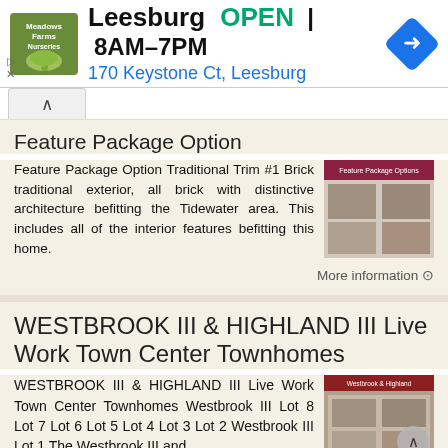[Figure (infographic): Meadows Farms Nurseries ad banner: logo, store name Leesburg, OPEN, hours 8AM-7PM, address 170 Keystone Ct Leesburg, navigation icon]
Feature Package Option
Feature Package Option Traditional Trim #1 Brick traditional exterior, all brick with distinctive architecture befitting the Tidewater area. This includes all of the interior features befitting this home.
[Figure (photo): Thumbnail image of feature package option showing brick house exterior]
More information →
WESTBROOK III & HIGHLAND III Live Work Town Center Townhomes
WESTBROOK III & HIGHLAND III Live Work Town Center Townhomes Westbrook III Lot 8 Lot 7 Lot 6 Lot 5 Lot 4 Lot 3 Lot 2 Westbrook III Lot 1 The Westbrook III and
[Figure (photo): Thumbnail image of Westbrook III & Highland III townhomes]